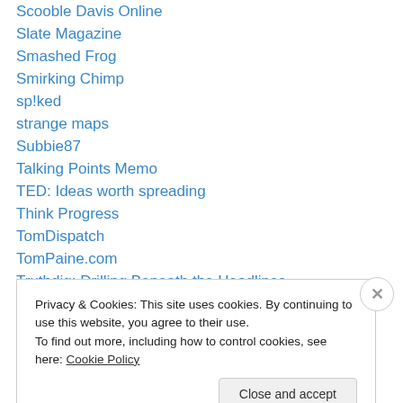Scooble Davis Online
Slate Magazine
Smashed Frog
Smirking Chimp
sp!ked
strange maps
Subbie87
Talking Points Memo
TED: Ideas worth spreading
Think Progress
TomDispatch
TomPaine.com
Truthdig: Drilling Beneath the Headlines
Tuesday Morning Quarterback
Privacy & Cookies: This site uses cookies. By continuing to use this website, you agree to their use. To find out more, including how to control cookies, see here: Cookie Policy
Close and accept